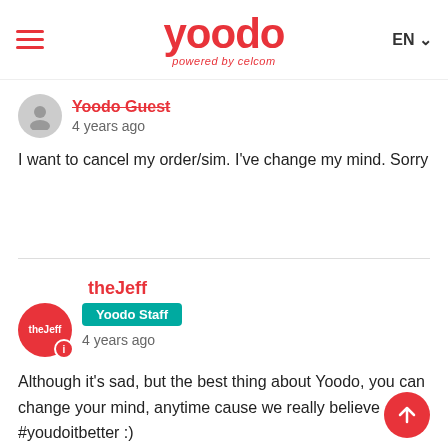Yoodo powered by celcom — EN
Yoodo Guest
4 years ago
I want to cancel my order/sim. I've change my mind. Sorry
theJeff
Yoodo Staff
4 years ago
Although it's sad, but the best thing about Yoodo, you can change your mind, anytime cause we really believe #youdoitbetter :)

If you have not register and activate your account, you don't have to do anything to cancel, just leave it as it is and your